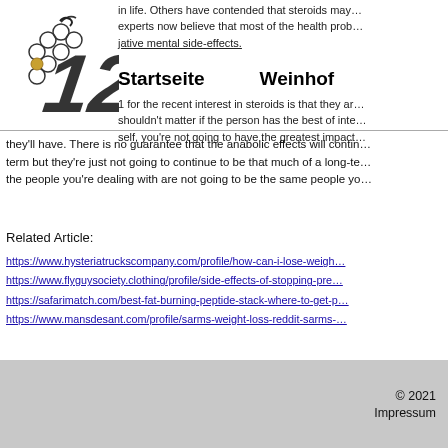[Figure (logo): Logo with grape cluster and stylized number 12]
in life. Others have contended that steroids may… experts now believe that most of the health prob… jative mental side-effects.
Startseite   Weinhof
1 for the recent interest in steroids is that they a… shouldn't matter if the person has the best of inte… self, you're not going to have the greatest impac…
they'll have. There is no guarantee that the anabolic effects will contin… term but they're just not going to continue to be that much of a long-te… the people you're dealing with are not going to be the same people yo…
Related Article:
https://www.hysteriatruckscompany.com/profile/how-can-i-lose-weigh…
https://www.flyguysociety.clothing/profile/side-effects-of-stopping-pre…
https://safarimatch.com/best-fat-burning-peptide-stack-where-to-get-p…
https://www.mansdesant.com/profile/sarms-weight-loss-reddit-sarms-…
© 2021
Impressum